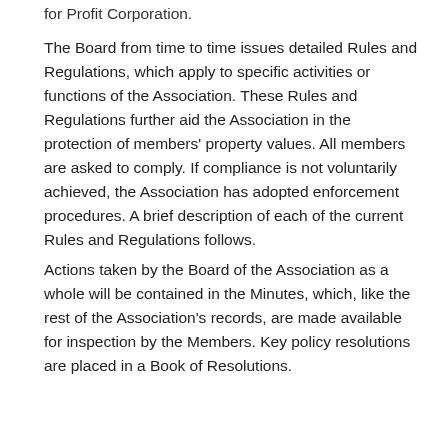for Profit Corporation.
The Board from time to time issues detailed Rules and Regulations, which apply to specific activities or functions of the Association. These Rules and Regulations further aid the Association in the protection of members' property values. All members are asked to comply. If compliance is not voluntarily achieved, the Association has adopted enforcement procedures. A brief description of each of the current Rules and Regulations follows.
Actions taken by the Board of the Association as a whole will be contained in the Minutes, which, like the rest of the Association's records, are made available for inspection by the Members. Key policy resolutions are placed in a Book of Resolutions.